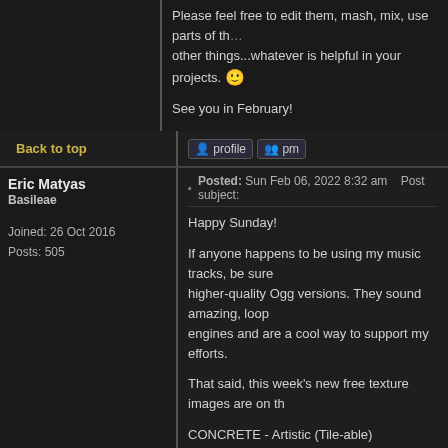Please feel free to edit them, mash, mix, use parts of them, combine with other things...whatever is helpful in your projects. 🙂
See you in February!
Back to top
Eric Matyas
Basileae
Joined: 26 Oct 2016
Posts: 505
Posted: Sun Feb 06, 2022 8:32 am    Post subject:
Happy Sunday!
If anyone happens to be using my music tracks, be sure to check out the higher-quality Ogg versions. They sound amazing, loop perfectly in most engines and are a cool way to support my efforts.
That said, this week's new free texture images are on th
CONCRETE - Artistic (Tile-able)
FUR / CARPET - Artistic (Tile-able)
You can access them here:
https://soundimage.org/images-home-page/